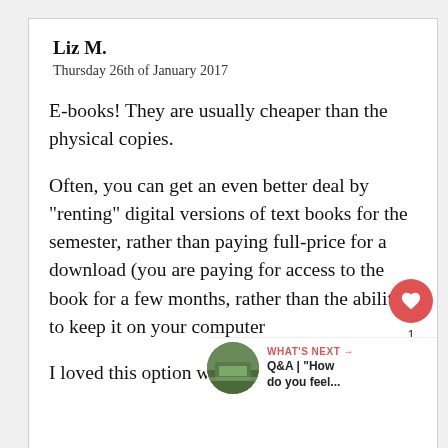Liz M.
Thursday 26th of January 2017
E-books! They are usually cheaper than the physical copies.
Often, you can get an even better deal by "renting" digital versions of text books for the semester, rather than paying full-price for a download (you are paying for access to the book for a few months, rather than the ability to keep it on your computer
I loved this option when I was in school